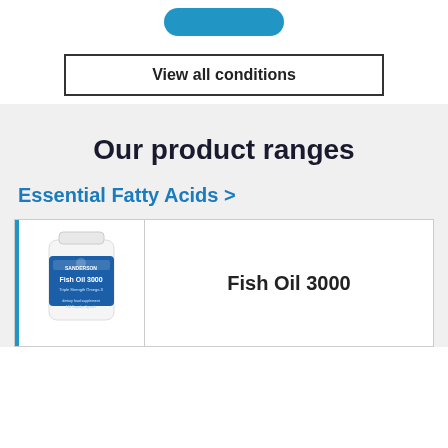[Figure (other): Blue rounded button partially visible at top of page]
View all conditions
Our product ranges
Essential Fatty Acids >
[Figure (photo): Sanderson Fish Oil 3000 product bottle - white container with blue label]
Fish Oil 3000